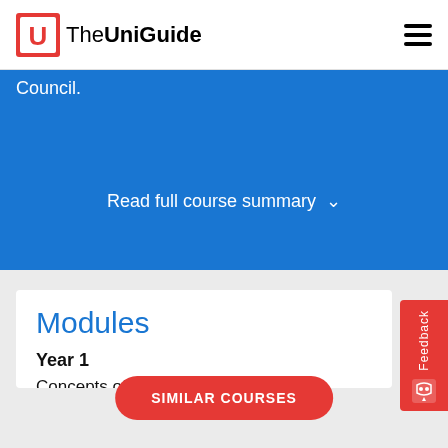TheUniGuide
Council.
Read full course summary ∨
Modules
Year 1
Concepts of Health and Wellbeing (C)
Foundations of Nursing Practice (C)
Practice Placement 1 (C)
Practice Placement 2 (C)
SIMILAR COURSES